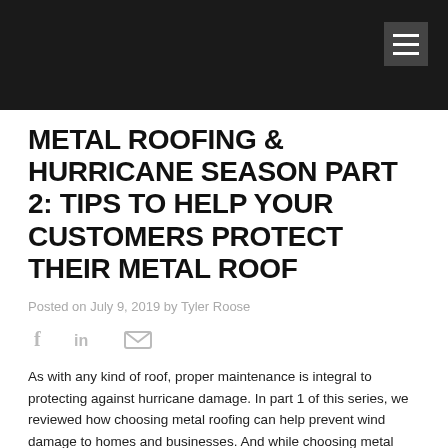METAL ROOFING & HURRICANE SEASON PART 2: TIPS TO HELP YOUR CUSTOMERS PROTECT THEIR METAL ROOF
Posted on July 9, 2019 by Tyler Roose
[Figure (other): Social share icons: Facebook (f), LinkedIn (in), Email (envelope)]
As with any kind of roof, proper maintenance is integral to protecting against hurricane damage. In part 1 of this series, we reviewed how choosing metal roofing can help prevent wind damage to homes and businesses. And while choosing metal panels as a roofing solution is the first step to damage prevention and increasing roof [...]
READ MORE »